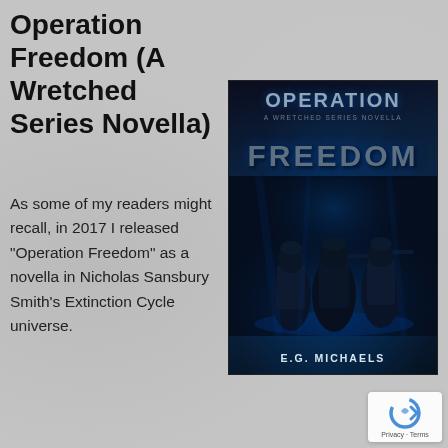Operation Freedom (A Wretched Series Novella)
As some of my readers might recall, in 2017 I released “Operation Freedom” as a novella in Nicholas Sansbury Smith’s Extinction Cycle universe.
[Figure (photo): Book cover for 'Operation Freedom: A Wretched Series Novella' by E.G. Michaels. Dark blue-toned cover showing three soldiers in tactical gear walking in a foggy urban environment. Title text 'OPERATION' at top, 'FREEDOM' in large letters in the middle, and author name 'E.G. MICHAELS' at the bottom.]
[Figure (logo): Google reCAPTCHA badge with blue circular arrow logo and 'Privacy - Terms' text below.]